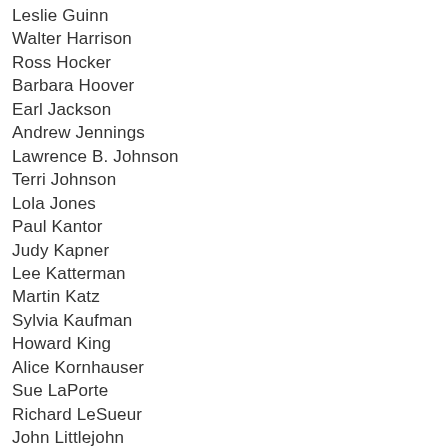Leslie Guinn
Walter Harrison
Ross Hocker
Barbara Hoover
Earl Jackson
Andrew Jennings
Lawrence B. Johnson
Terri Johnson
Lola Jones
Paul Kantor
Judy Kapner
Lee Katterman
Martin Katz
Sylvia Kaufman
Howard King
Alice Kornhauser
Sue LaPorte
Richard LeSueur
John Littlejohn
David Lyman
Bruce Martin
Bettye McDonald
John McKeighan
Carole McNamara